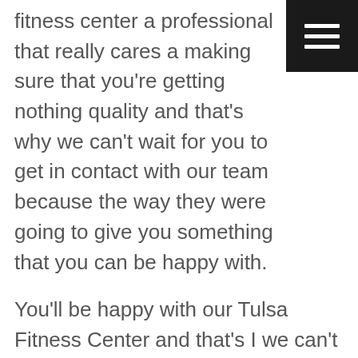fitness center a professional that really cares a making sure that you’re getting nothing quality and that’s why we can’t wait for you to get in contact with our team because the way they were going to give you something that you can be happy with.
You’ll be happy with our Tulsa Fitness Center and that’s I we can’t wait to make sure were helping people find that the quality and the service we provide is going to give you something that no other company can provide people with today. As soon as you decide that you’re looking for service in a company that cares about you than your can it be happy to know that our company can